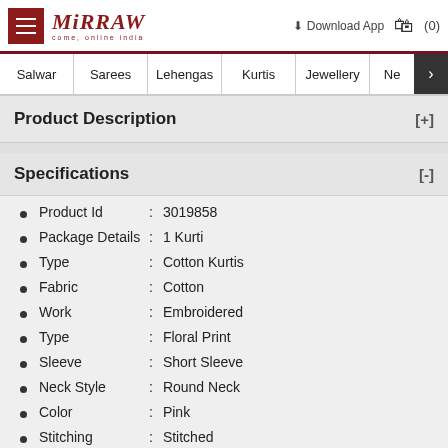Mirraw — come, online india | Download App | Cart (0)
Salwar | Sarees | Lehengas | Kurtis | Jewellery | Ne >
Product Description [+]
Specifications [-]
Product Id : 3019858
Package Details : 1 Kurti
Type : Cotton Kurtis
Fabric : Cotton
Work : Embroidered
Type : Floral Print
Sleeve : Short Sleeve
Neck Style : Round Neck
Color : Pink
Stitching : Stitched